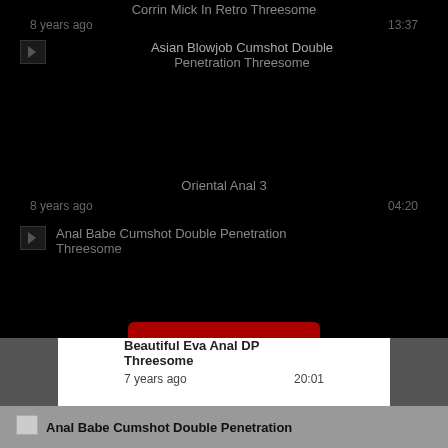Corrin Mick In Retro Threesome
8 years ago   13:37
[Figure (screenshot): Thumbnail placeholder icon for Asian Blowjob Cumshot Double Penetration Threesome video]
Asian Blowjob Cumshot Double Penetration Threesome
Oriental Anal 3
8 years ago   04:20
[Figure (screenshot): Thumbnail placeholder icon for Anal Babe Cumshot Double Penetration Threesome video]
Anal Babe Cumshot Double Penetration Threesome
Close [X]
Beautiful Eva Anal DP Threesome
7 years ago   20:01
[Figure (screenshot): Thumbnail placeholder for Anal Babe Cumshot Double Penetration video]
Anal Babe Cumshot Double Penetration